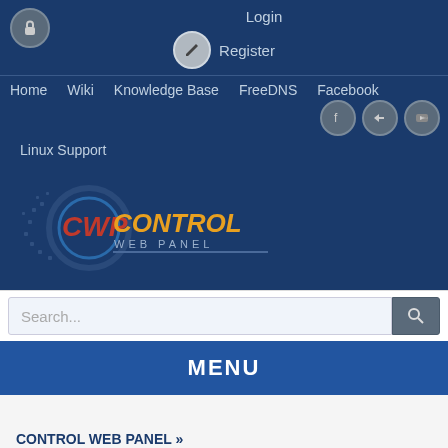[Figure (screenshot): CWP Control Web Panel website navigation screenshot showing login, register, navigation links, logo, search bar, MENU button, and breadcrumb navigation for CONTROL WEB PANEL > WEBPANEL > APACHE]
Login
Register
Home  Wiki  Knowledge Base  FreeDNS  Facebook
Linux Support
Search...
MENU
CONTROL WEB PANEL »
WEBPANEL »
APACHE